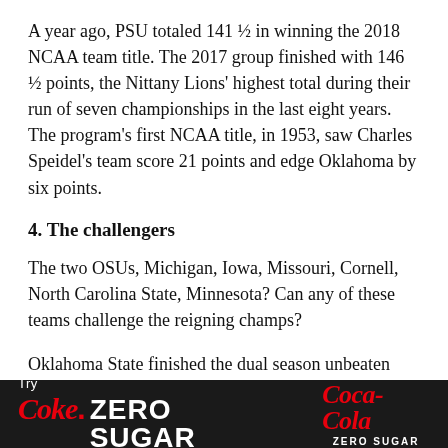A year ago, PSU totaled 141 ½ in winning the 2018 NCAA team title. The 2017 group finished with 146 ½ points, the Nittany Lions' highest total during their run of seven championships in the last eight years. The program's first NCAA title, in 1953, saw Charles Speidel's team score 21 points and edge Oklahoma by six points.
4. The challengers
The two OSUs, Michigan, Iowa, Missouri, Cornell, North Carolina State, Minnesota? Can any of these teams challenge the reigning champs?
Oklahoma State finished the dual season unbeaten and with a seventh consecutive Big 12 Conference crown. The Cowboys, winners of 34 NCAA team titles but none since 2006, bring nine
[Figure (other): Coke Zero Sugar advertisement banner with black background, red Coke and Coca-Cola script logos, white ZERO SUGAR text]